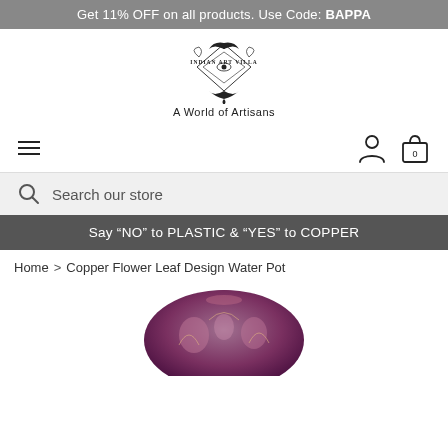Get 11% OFF on all products. Use Code: BAPPA
[Figure (logo): Indian Art Villa ornate logo with text 'INDIAN ART VILLA' and tagline 'A World of Artisans']
Search our store
Say "NO" to PLASTIC & "YES" to COPPER
Home > Copper Flower Leaf Design Water Pot
[Figure (photo): Top portion of a decorative copper water pot with floral leaf design on dark purple/maroon background, partially visible at bottom of page]